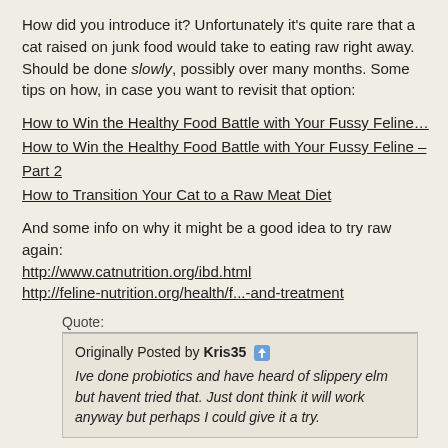How did you introduce it? Unfortunately it's quite rare that a cat raised on junk food would take to eating raw right away. Should be done slowly, possibly over many months. Some tips on how, in case you want to revisit that option:
How to Win the Healthy Food Battle with Your Fussy Feline…
How to Win the Healthy Food Battle with Your Fussy Feline – Part 2
How to Transition Your Cat to a Raw Meat Diet
And some info on why it might be a good idea to try raw again:
http://www.catnutrition.org/ibd.html
http://feline-nutrition.org/health/f...-and-treatment
Quote:
Originally Posted by Kris35
Ive done probiotics and have heard of slippery elm but havent tried that. Just dont think it will work anyway but perhaps I could give it a try.
What probiotics did you try? Perhaps she needed something more potent, or with a wider variety of organisms.
As for SEB powder, it may not work in every situation, but it was absolutely the ONLY thing that helped my cat with IBD. It's better than pumpkin because not only does it help equalize moisture balance in the intestines, but it also soothes an irritated digestive